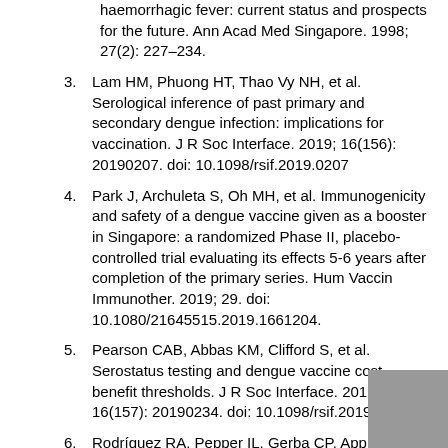haemorrhagic fever: current status and prospects for the future. Ann Acad Med Singapore. 1998; 27(2): 227–234.
3. Lam HM, Phuong HT, Thao Vy NH, et al. Serological inference of past primary and secondary dengue infection: implications for vaccination. J R Soc Interface. 2019; 16(156): 20190207. doi: 10.1098/rsif.2019.0207
4. Park J, Archuleta S, Oh MH, et al. Immunogenicity and safety of a dengue vaccine given as a booster in Singapore: a randomized Phase II, placebo-controlled trial evaluating its effects 5-6 years after completion of the primary series. Hum Vaccin Immunother. 2019; 29. doi: 10.1080/21645515.2019.1661204.
5. Pearson CAB, Abbas KM, Clifford S, et al. Serostatus testing and dengue vaccine cost-benefit thresholds. J R Soc Interface. 2019; 16(157): 20190234. doi: 10.1098/rsif.2019.0234.
6. Rodríguez RA, Pepper IL, Gerba CP. Application of PCR-based methods to assess the infectivity of enteric viruses in environmental samples. Appl Environ Microbiol. 2009; 75(2): 297–307.